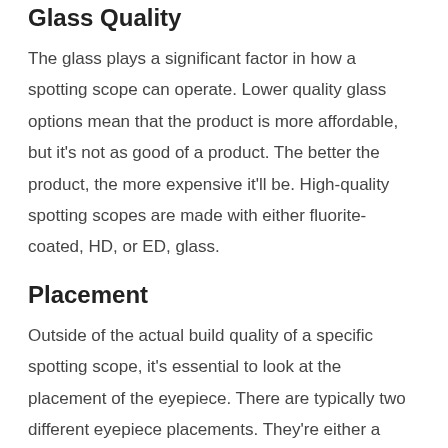Glass Quality
The glass plays a significant factor in how a spotting scope can operate. Lower quality glass options mean that the product is more affordable, but it's not as good of a product. The better the product, the more expensive it'll be. High-quality spotting scopes are made with either fluorite-coated, HD, or ED, glass.
Placement
Outside of the actual build quality of a specific spotting scope, it's essential to look at the placement of the eyepiece. There are typically two different eyepiece placements. They're either a